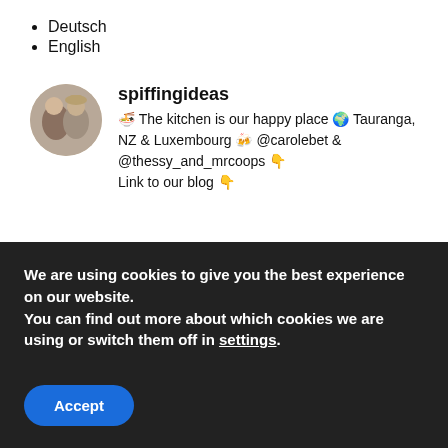Deutsch
English
[Figure (photo): Circular profile photo of two women]
spiffingideas
🍜 The kitchen is our happy place 🌍 Tauranga, NZ & Luxembourg 🍻 @carolebet & @thessy_and_mrcoops 👇 Link to our blog 👇
We are using cookies to give you the best experience on our website.
You can find out more about which cookies we are using or switch them off in settings.
Accept